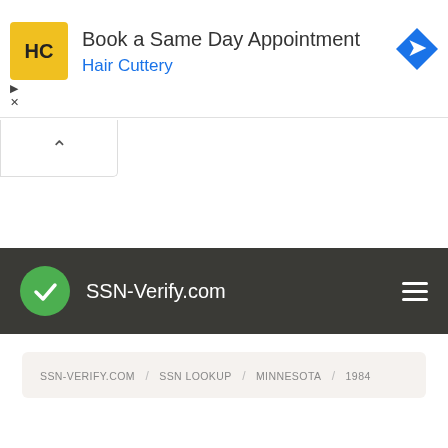[Figure (screenshot): Hair Cuttery advertisement banner with HC logo in yellow square, text 'Book a Same Day Appointment' and 'Hair Cuttery' in blue, with a blue navigation arrow icon on the right. Small play and close buttons at lower left.]
[Figure (screenshot): Collapsed/minimized ad panel with an upward chevron button]
[Figure (screenshot): SSN-Verify.com navigation bar with green checkmark logo, site name in white, and hamburger menu icon]
SSN-VERIFY.COM / SSN LOOKUP / MINNESOTA / 1984